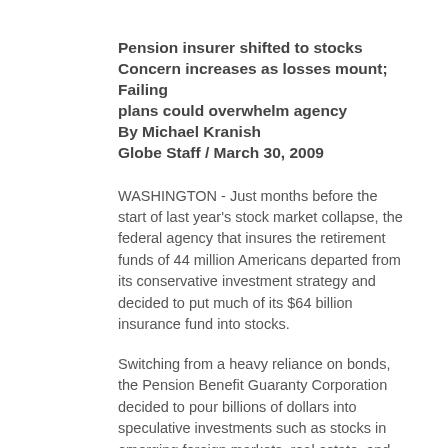Pension insurer shifted to stocks Concern increases as losses mount; Failing plans could overwhelm agency By Michael Kranish Globe Staff / March 30, 2009
WASHINGTON - Just months before the start of last year's stock market collapse, the federal agency that insures the retirement funds of 44 million Americans departed from its conservative investment strategy and decided to put much of its $64 billion insurance fund into stocks.
Switching from a heavy reliance on bonds, the Pension Benefit Guaranty Corporation decided to pour billions of dollars into speculative investments such as stocks in emerging foreign markets, real estate, and private equity funds.
The agency refused to say how much of the new investment strategy has been implemented or